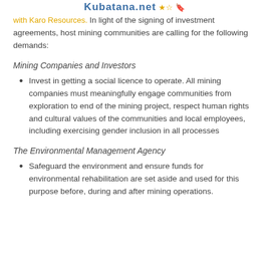Kubatana.net with Karo Resources. In light of the signing of investment agreements, host mining communities are calling for the following demands:
with Karo Resources. In light of the signing of investment agreements, host mining communities are calling for the following demands:
Mining Companies and Investors
Invest in getting a social licence to operate. All mining companies must meaningfully engage communities from exploration to end of the mining project, respect human rights and cultural values of the communities and local employees, including exercising gender inclusion in all processes
The Environmental Management Agency
Safeguard the environment and ensure funds for environmental rehabilitation are set aside and used for this purpose before, during and after mining operations.